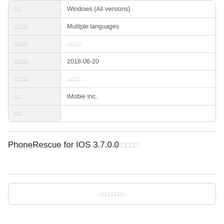|  |  |
| --- | --- |
| □□ | Windows (All versions) |
| □□□□ | Multiple languages |
| □□□□ | □□□□ |
| □□□□ | 2018-06-20 |
| □□□□ | □□□□ |
| □□ | iMobie Inc. |
| □□ |  |
PhoneRescue for IOS 3.7.0.0 □□□□
□□□□□□□□